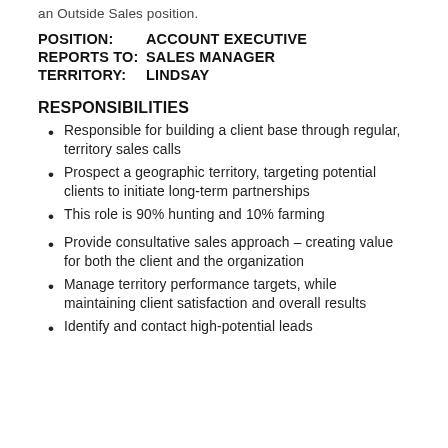an Outside Sales position.
POSITION:    ACCOUNT EXECUTIVE
REPORTS TO:  SALES MANAGER
TERRITORY:   LINDSAY
RESPONSIBILITIES
Responsible for building a client base through regular, territory sales calls
Prospect a geographic territory, targeting potential clients to initiate long-term partnerships
This role is 90% hunting and 10% farming
Provide consultative sales approach – creating value for both the client and the organization
Manage territory performance targets, while maintaining client satisfaction and overall results
Identify and contact high-potential leads